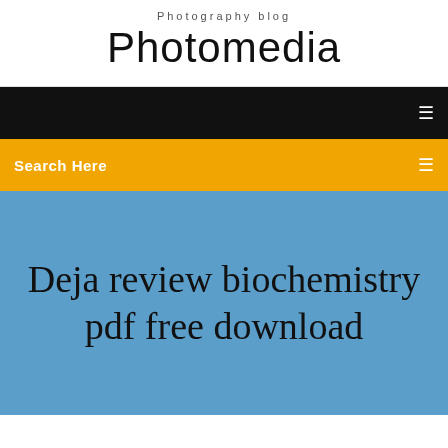Photography blog
Photomedia
[Figure (screenshot): Black navigation bar with a small white icon on the right side]
Search Here
Deja review biochemistry pdf free download